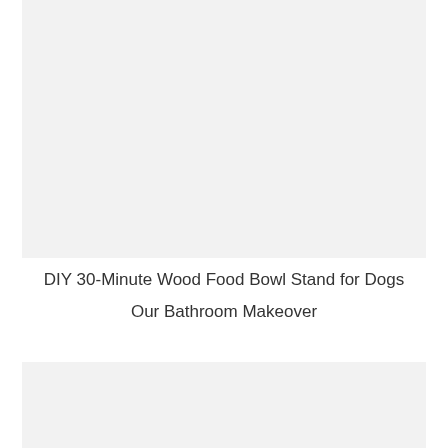[Figure (photo): Large image placeholder with light gray background at top of page]
DIY 30-Minute Wood Food Bowl Stand for Dogs
Our Bathroom Makeover
[Figure (photo): Image placeholder with light gray background at bottom of page]